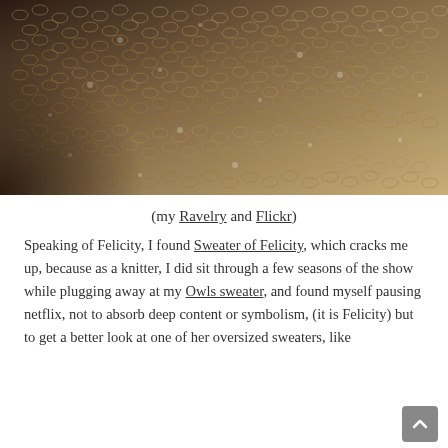[Figure (photo): Close-up photograph of textured knitted fabric in warm beige/brown tones, showing the intricate loops and stitches of a knitted sweater.]
(my Ravelry and Flickr)
Speaking of Felicity, I found Sweater of Felicity, which cracks me up, because as a knitter, I did sit through a few seasons of the show while plugging away at my Owls sweater, and found myself pausing netflix, not to absorb deep content or symbolism, (it is Felicity) but to get a better look at one of her oversized sweaters, like